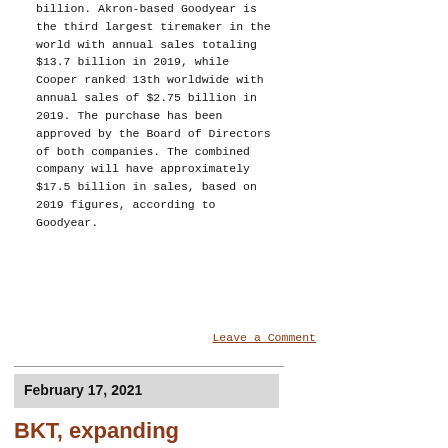billion. Akron-based Goodyear is the third largest tiremaker in the world with annual sales totaling $13.7 billion in 2019, while Cooper ranked 13th worldwide with annual sales of $2.75 billion in 2019. The purchase has been approved by the Board of Directors of both companies. The combined company will have approximately $17.5 billion in sales, based on 2019 figures, according to Goodyear.
Leave a Comment
February 17, 2021
BKT, expanding